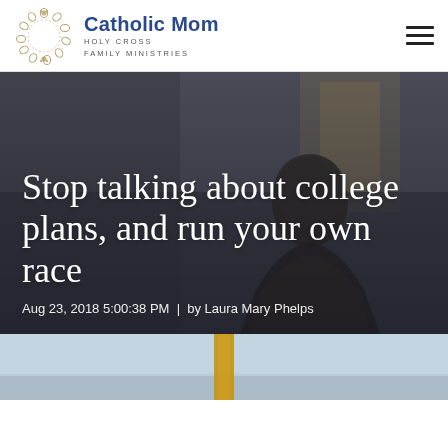[Figure (logo): Catholic Mom logo: decorative circular wreath icon in gold/tan, with 'Catholic Mom' in blue bold and 'HOLY CROSS FAMILY MINISTRIES' in small caps below]
[Figure (photo): Hero image showing the back of a student's head in a classroom or lecture hall, muted dark tones, with large white serif text overlay reading 'Stop talking about college plans, and run your own race' and byline 'Aug 23, 2018 5:00:38 PM | by Laura Mary Phelps']
Stop talking about college plans, and run your own race
Aug 23, 2018 5:00:38 PM | by Laura Mary Phelps
[Figure (photo): Partial bottom photo, partially visible, showing a light blue sky and what appears to be a person or figure, cropped at the bottom of the page]